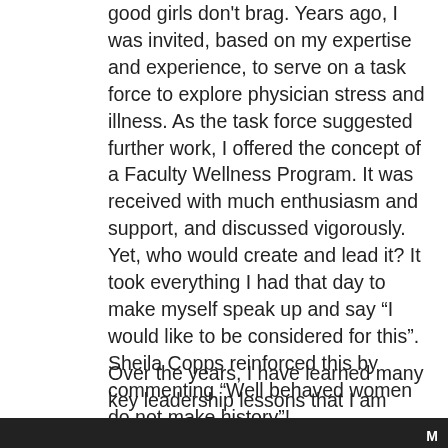good girls don't brag.  Years ago, I was invited, based on my expertise and experience, to serve on a task force to explore physician stress and illness.  As the task force suggested further work, I offered the concept of a Faculty Wellness Program.  It was received with much enthusiasm and support, and discussed vigorously.  Yet, who would create and lead it?  It took everything I had that day to make myself speak up and say “I would like to be considered for this”.  Sheila Copps reinforced this by commenting “Well behaved women do not make history”!
Over the years, I have learned many key leadership lessons that I am happy to pass on.  Was it just me; it seemed there were so many leadership
M